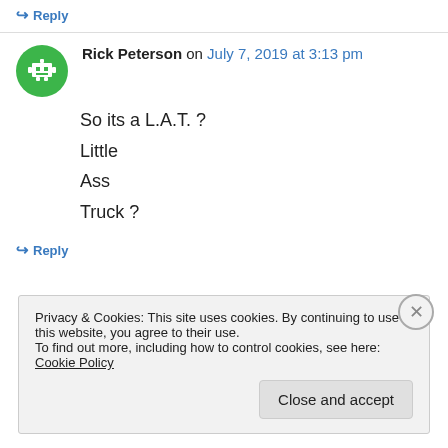↪ Reply
Rick Peterson on July 7, 2019 at 3:13 pm
So its a L.A.T. ?
Little
Ass
Truck ?
↪ Reply
Privacy & Cookies: This site uses cookies. By continuing to use this website, you agree to their use.
To find out more, including how to control cookies, see here: Cookie Policy
Close and accept